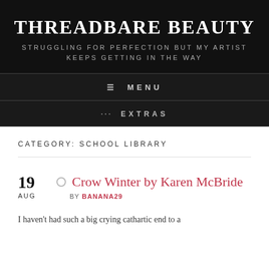THREADBARE BEAUTY
STRUGGLING FOR PERFECTION BUT MY ARTIST KEEPS GETTING IN THE WAY
≡ MENU
··· EXTRAS
CATEGORY: SCHOOL LIBRARY
19 AUG
Crow Winter by Karen McBride
BY BANANA29
I haven't had such a big crying cathartic end to a